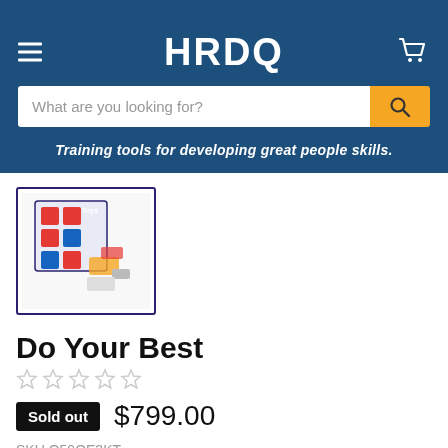HRDQ
What are you looking for?
Training tools for developing great people skills.
[Figure (photo): Product thumbnail image of Do Your Best training tool kit showing a board with colored squares and small components]
Do Your Best
☆☆☆☆☆
Sold out  $799.00
SKU O59OE3KT
Select Components: